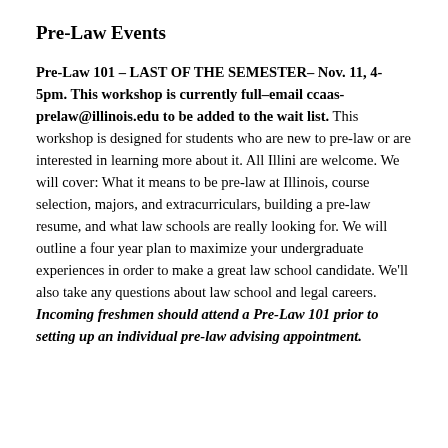Pre-Law Events
Pre-Law 101 – LAST OF THE SEMESTER– Nov. 11, 4-5pm. This workshop is currently full–email ccaas-prelaw@illinois.edu to be added to the wait list. This workshop is designed for students who are new to pre-law or are interested in learning more about it. All Illini are welcome. We will cover: What it means to be pre-law at Illinois, course selection, majors, and extracurriculars, building a pre-law resume, and what law schools are really looking for. We will outline a four year plan to maximize your undergraduate experiences in order to make a great law school candidate. We'll also take any questions about law school and legal careers. Incoming freshmen should attend a Pre-Law 101 prior to setting up an individual pre-law advising appointment.